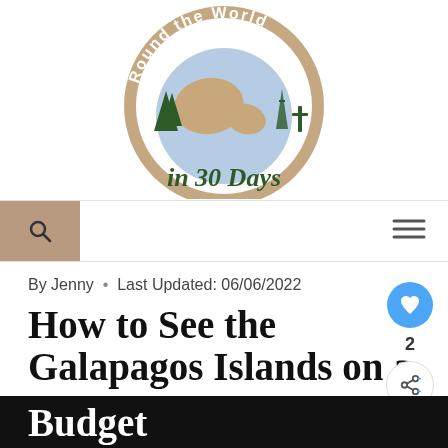[Figure (logo): Round the World in 30 Days circular logo with globe, trees, and landmarks, with script text 'in 30 Days' below]
[Figure (screenshot): Navigation bar with tan/beige search button on left showing magnifying glass icon, and hamburger menu icon on right]
By Jenny • Last Updated: 06/06/2022
How to See the Galapagos Islands on a Budget